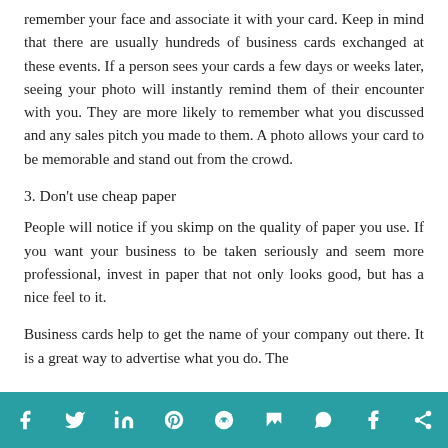remember your face and associate it with your card. Keep in mind that there are usually hundreds of business cards exchanged at these events. If a person sees your cards a few days or weeks later, seeing your photo will instantly remind them of their encounter with you. They are more likely to remember what you discussed and any sales pitch you made to them. A photo allows your card to be memorable and stand out from the crowd.
3. Don't use cheap paper
People will notice if you skimp on the quality of paper you use. If you want your business to be taken seriously and seem more professional, invest in paper that not only looks good, but has a nice feel to it.
Business cards help to get the name of your company out there. It is a great way to advertise what you do. The
Social share icons: Facebook, Twitter, LinkedIn, Pinterest, Reddit, Mix, WhatsApp, Tumblr, Share